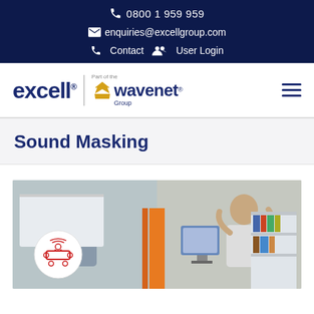0800 1 959 959
enquiries@excellgroup.com
Contact  User Login
[Figure (logo): Excell | Part of the Wavenet Group logo with hamburger menu icon]
Sound Masking
[Figure (photo): Two office workers sitting at desks with a sound masking icon overlay (circular icon showing people around a table)]